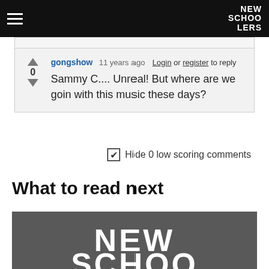NEW SCHOOLERS
gongshow  11 years ago  Login or register to reply
Sammy C.... Unreal! But where are we goin with this music these days?
✔ Hide 0 low scoring comments
What to read next
[Figure (photo): Dark grey background with white bold text showing NEW SCHOO (partially cropped)]